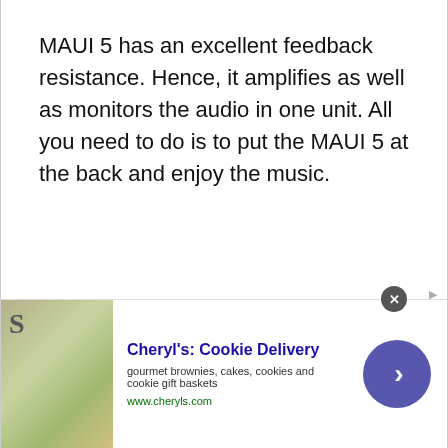MAUI 5 has an excellent feedback resistance. Hence, it amplifies as well as monitors the audio in one unit. All you need to do is to put the MAUI 5 at the back and enjoy the music.
Attractive design
[Figure (other): Advertisement banner for Cheryl's Cookie Delivery showing a cookie/food image, ad title, description text 'gourmet brownies, cakes, cookies and cookie gift baskets', URL 'www.cheryls.com', and a blue arrow button. A close (X) button appears at top right.]